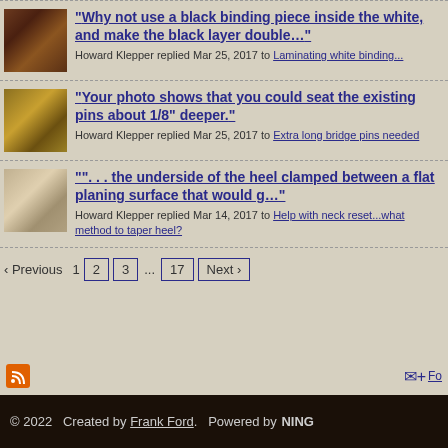"Why not use a black binding piece inside the white, and make the black layer double…" Howard Klepper replied Mar 25, 2017 to Laminating white binding...
"Your photo shows that you could seat the existing pins about 1/8" deeper." Howard Klepper replied Mar 25, 2017 to Extra long bridge pins needed
"". . . the underside of the heel clamped between a flat planing surface that would g…" Howard Klepper replied Mar 14, 2017 to Help with neck reset...what method to taper heel?
‹ Previous  1  2  3  ...  17  Next ›
© 2022   Created by Frank Ford.   Powered by  NING